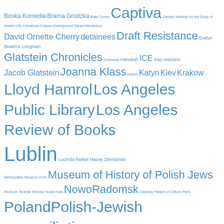Tag cloud including: Boska Komedia, Brama Grodzka, Brian Turner, Captiva, Casden Institute for the Study of Jewish Life in America, Cracow Underground, Daniel Mendelson, David Ornette Cherry, detainees, Draft Resistance, Evelyn Beatrice Longman, Glatstein Chronicles, Grotowski, Hanukah, ICE, Iraq veterans, Jacob Glatstein, Joanna Klass, Kantor, Katyn, Kiev, Krakow, Lloyd Hamrol, Los Angeles Public Library, Los Angeles Review of Books, Lublin, Lucinda Parker, Maciej Ziembinski, Metropolitan Museum of Art, Museum of History of Polish Jews, Muzeum Teckniki Warsaw, Nowa Huta, NowoRadomsk, Odyssey, Palace of Culture, Paris, Poland, Polish-Jewish reconciliation, Polish rescuers, Pumla Gobodo-Madikizela, Pussy Riot, Rabbi Don Singer, Radomsko, Radomsko ghetto, Radomsk Yizkor, Rauschenberg, residency, refugees, Righteous Among Nations, Sarah Rebecca Steinman